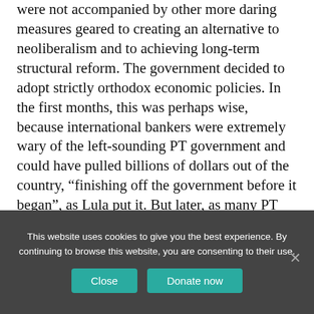were not accompanied by other more daring measures geared to creating an alternative to neoliberalism and to achieving long-term structural reform. The government decided to adopt strictly orthodox economic policies. In the first months, this was perhaps wise, because international bankers were extremely wary of the left-sounding PT government and could have pulled billions of dollars out of the country, “finishing off the government before it began”, as Lula put it. But later, as many PT activists have commented, there was scope for more daring policies, opportunities that successive PT governments failed to take.
This website uses cookies to give you the best experience. By continuing to browse this website, you are consenting to their use.